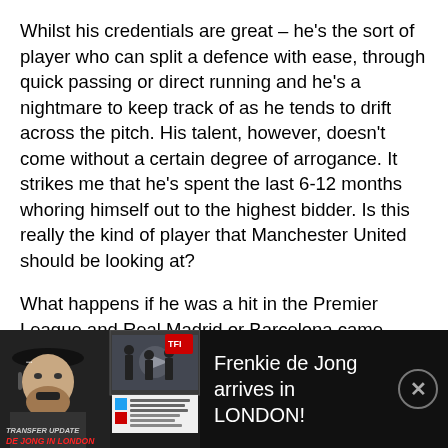Whilst his credentials are great – he's the sort of player who can split a defence with ease, through quick passing or direct running and he's a nightmare to keep track of as he tends to drift across the pitch. His talent, however, doesn't come without a certain degree of arrogance. It strikes me that he's spent the last 6-12 months whoring himself out to the highest bidder. Is this really the kind of player that Manchester United should be looking at?
What happens if he was a hit in the Premier League and Real Madrid or Barcelona came knocking? I'm sure he'd move on in an instant. My feeling is that Sir Alex should be looking to give players a chance who are desperate to prove themselves at United.
[Figure (screenshot): Video banner overlay at bottom of page showing a transfer update about Frenkie de Jong arriving in London, with thumbnail of a man in a baseball cap on left, a video thumbnail in center with play button, and text 'Frenkie de Jong arrives in LONDON!' on dark background with a close button.]